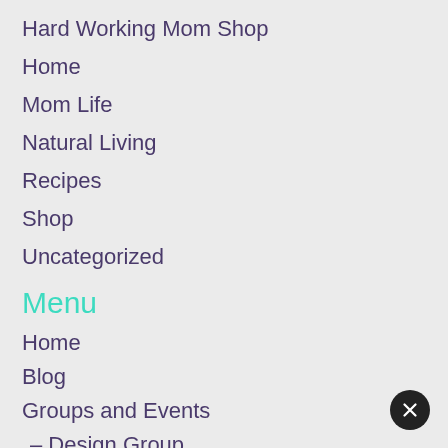Hard Working Mom Shop
Home
Mom Life
Natural Living
Recipes
Shop
Uncategorized
Menu
Home
Blog
Groups and Events
– Design Group
– Success Path Business Group